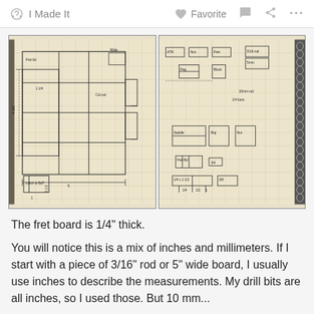I Made It   Favorite   ...
[Figure (engineering-diagram): Two pages of hand-drawn engineering/design sketches for a fretboard instrument, showing dimensions, measurements, and component layouts with annotations in inches and millimeters. Left page shows detailed top-view schematic of fretboard components. Right page shows a spiral-bound notebook page with additional component sketches and dimension notes.]
The fret board is 1/4" thick.
You will notice this is a mix of inches and millimeters. If I start with a piece of 3/16" rod or 5" wide board, I usually use inches to describe the measurements. My drill bits are all inches, so I used those. But 10 mm...